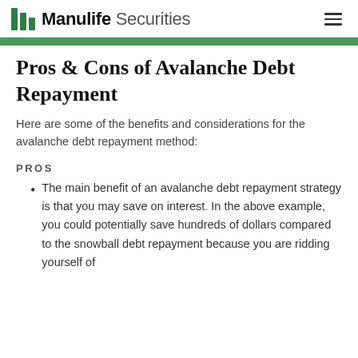Manulife Securities
Pros & Cons of Avalanche Debt Repayment
Here are some of the benefits and considerations for the avalanche debt repayment method:
PROS
The main benefit of an avalanche debt repayment strategy is that you may save on interest. In the above example, you could potentially save hundreds of dollars compared to the snowball debt repayment because you are ridding yourself of